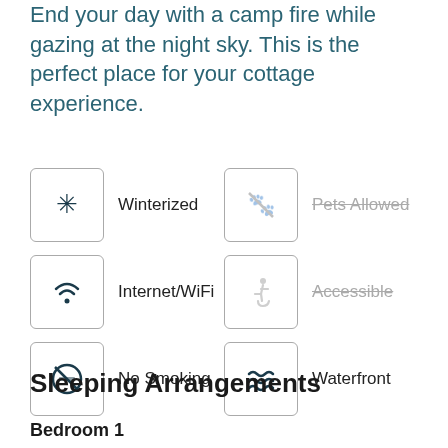End your day with a camp fire while gazing at the night sky. This is the perfect place for your cottage experience.
Winterized
Pets Allowed (not available)
Internet/WiFi
Accessible (not available)
No Smoking
Waterfront
Sleeping Arrangements
Bedroom 1